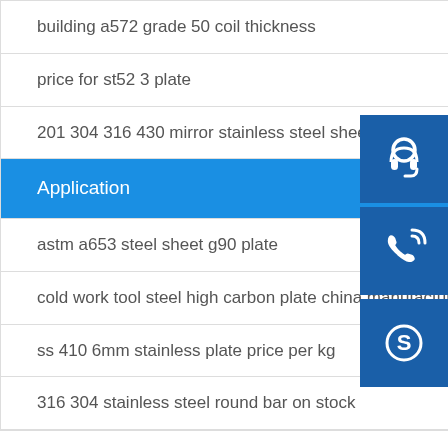building a572 grade 50 coil thickness
price for st52 3 plate
201 304 316 430 mirror stainless steel sheet for decoration
Application
astm a653 steel sheet g90 plate
cold work tool steel high carbon plate china manufacturer
ss 410 6mm stainless plate price per kg
316 304 stainless steel round bar on stock